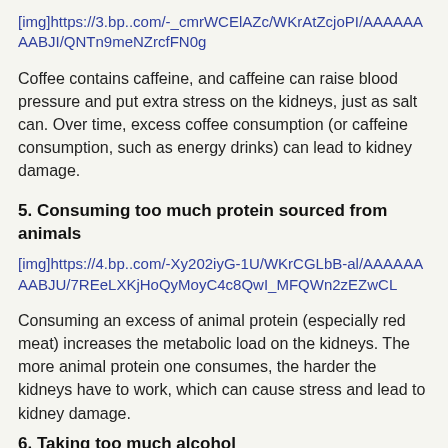[img]https://3.bp..com/-_cmrWCElAZc/WKrAtZcjoPI/AAAAAAAABJI/QNTn9meNZrcfFN0g
Coffee contains caffeine, and caffeine can raise blood pressure and put extra stress on the kidneys, just as salt can. Over time, excess coffee consumption (or caffeine consumption, such as energy drinks) can lead to kidney damage.
5. Consuming too much protein sourced from animals
[img]https://4.bp..com/-Xy202iyG-1U/WKrCGLbB-al/AAAAAAAABJU/7REeLXKjHoQyMoyC4c8QwI_MFQWn2zEZwCL
Consuming an excess of animal protein (especially red meat) increases the metabolic load on the kidneys. The more animal protein one consumes, the harder the kidneys have to work, which can cause stress and lead to kidney damage.
6. Taking too much alcohol